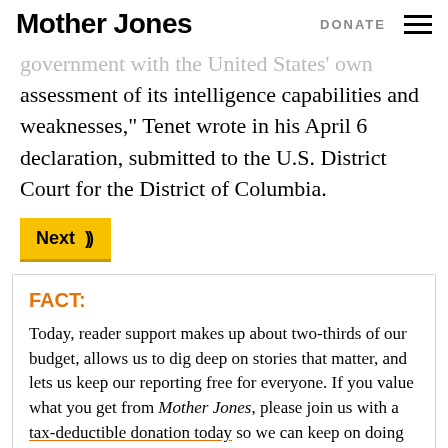Mother Jones | DONATE
government with the United States' own assessment of its intelligence capabilities and weaknesses," Tenet wrote in his April 6 declaration, submitted to the U.S. District Court for the District of Columbia.
Next »
FACT:
Today, reader support makes up about two-thirds of our budget, allows us to dig deep on stories that matter, and lets us keep our reporting free for everyone. If you value what you get from Mother Jones, please join us with a tax-deductible donation today so we can keep on doing the type of journalism 2022 demands.